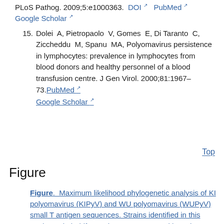PLoS Pathog. 2009;5:e1000363. DOI [external] PubMed [external]  Google Scholar [external]
15. Dolei A, Pietropaolo V, Gomes E, Di Taranto C, Ziccheddu M, Spanu MA, Polyomavirus persistence in lymphocytes: prevalence in lymphocytes from blood donors and healthy personnel of a blood transfusion centre. J Gen Virol. 2000;81:1967–73. PubMed [external] Google Scholar [external]
Top
Figure
Figure. Maximum likelihood phylogenetic analysis of KI polyomavirus (KIPyV) and WU polyomavirus (WUPyV) small T antigen sequences. Strains identified in this study are in boldface. The tree was rooted by using…